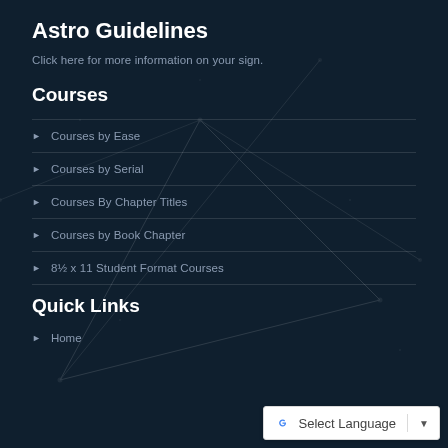Astro Guidelines
Click here for more information on your sign.
Courses
Courses by Ease
Courses by Serial
Courses By Chapter Titles
Courses by Book Chapter
8½ x 11 Student Format Courses
Quick Links
Home
[Figure (other): Google Translate widget showing 'Select Language' with dropdown arrow]